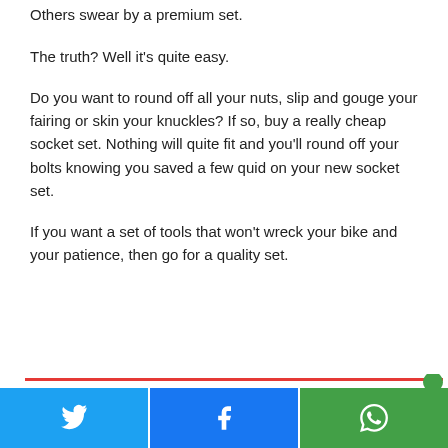Others swear by a premium set.
The truth? Well it's quite easy.
Do you want to round off all your nuts, slip and gouge your fairing or skin your knuckles? If so, buy a really cheap socket set. Nothing will quite fit and you'll round off your bolts knowing you saved a few quid on your new socket set.
If you want a set of tools that won't wreck your bike and your patience, then go for a quality set.
[Figure (infographic): Social share buttons: Twitter (blue), Facebook (blue), WhatsApp (green)]